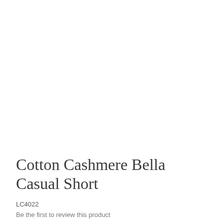Cotton Cashmere Bella Casual Short
LC4022
Be the first to review this product